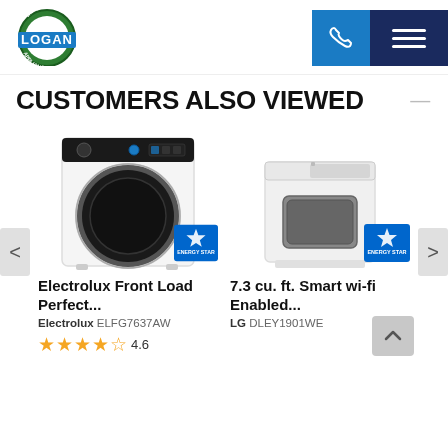[Figure (logo): Logan Appliance master logo - circular badge with LOGAN text]
CUSTOMERS ALSO VIEWED
[Figure (photo): Electrolux front load washer/dryer, white, with Energy Star badge]
[Figure (photo): LG top load dryer, white, with Energy Star badge]
Electrolux Front Load Perfect...
7.3 cu. ft. Smart wi-fi Enabled...
Electrolux ELFG7637AW
LG DLEY1901WE
4.6